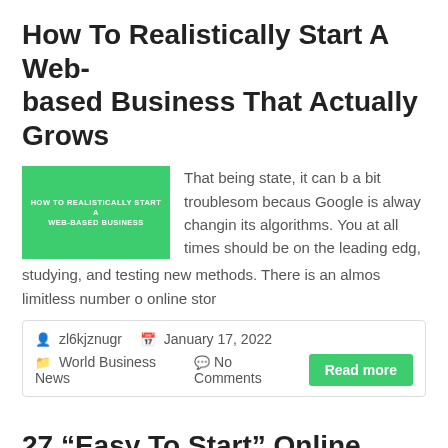How To Realistically Start A Web-based Business That Actually Grows
[Figure (illustration): Green thumbnail image with white text reading HOW TO REALISTICALLY START A WEB-BASED BUSINESS]
That being state, it can b a bit troublesom becaus Google is alway changin its algorithms. You at all times should be on the leading edg, studying, and testing new methods. There is an almos limitless number o online stor
zl6kjznugr   January 17, 2022   World Business News   No Comments
Read more
27 “Easy To Start” Online Business Ideas For